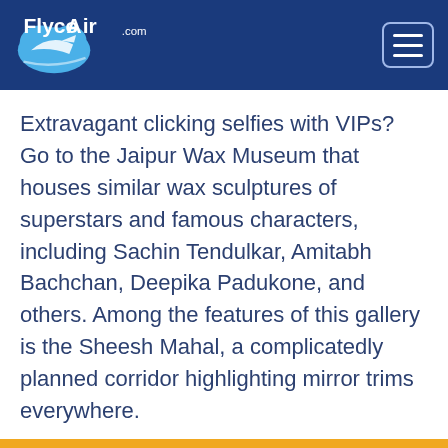FlycoAir.com
Extravagant clicking selfies with VIPs? Go to the Jaipur Wax Museum that houses similar wax sculptures of superstars and famous characters, including Sachin Tendulkar, Amitabh Bachchan, Deepika Padukone, and others. Among the features of this gallery is the Sheesh Mahal, a complicatedly planned corridor highlighting mirror trims everywhere.
(USA) +1-802-213-8448
(AU) +61-383761165
(UK) +44-203-514-5823